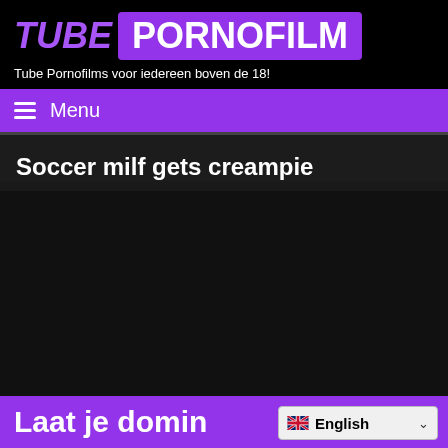TUBE PORNOFILM — Tube Pornofilms voor iedereen boven de 18!
Menu
Soccer milf gets creampie
[Figure (other): Dark video player placeholder area]
Laat je domin
English